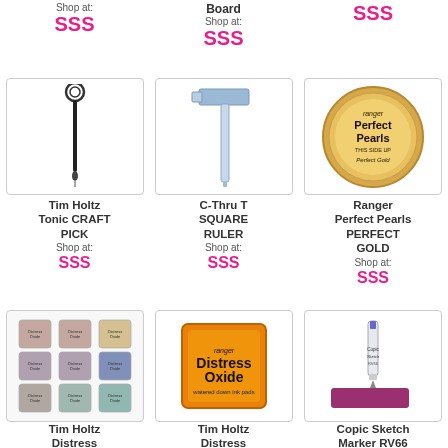Shop at:
SSS
Board
Shop at:
SSS
SSS
[Figure (photo): Tim Holtz Tonic Craft Pick tool - a black pen-like tool with a loop end]
Tim Holtz Tonic CRAFT PICK
Shop at:
SSS
[Figure (photo): C-Thru T Square Ruler - a transparent ruler shaped like a T]
C-Thru T SQUARE RULER
Shop at:
SSS
[Figure (photo): Ranger Perfect Pearls Perfect Gold - a round tin of gold pearl powder]
Ranger Perfect Pearls PERFECT GOLD
Shop at:
SSS
[Figure (photo): Tim Holtz Distress Oxide Ink - a grid of 9 small ink pads in various colors]
Tim Holtz Distress OXIDE INK
[Figure (photo): Tim Holtz Distress Oxide Ink - single orange ink pad]
Tim Holtz Distress Oxide Ink
[Figure (photo): Copic Sketch Marker RV66 Raspberry - a marker pen with a raspberry colored swatch]
Copic Sketch Marker RV66 RASPBERRY